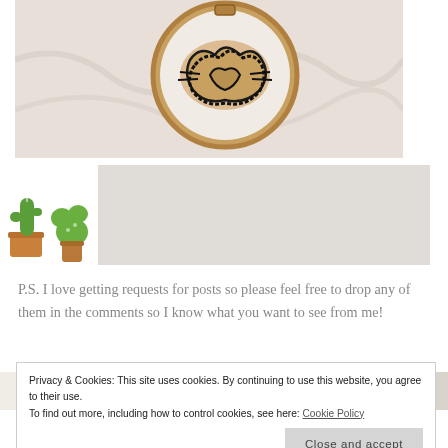[Figure (photo): Close-up photo of an embroidery hoop on white fabric showing a stitched design in brown and black thread]
[Figure (photo): Small circular avatar image showing watercolor cactus plants illustration]
[Figure (photo): Bottom strip showing partial images of craft/book covers]
P.S. I love getting requests for posts so please feel free to drop any of them in the comments so I know what you want to see from me!
Privacy & Cookies: This site uses cookies. By continuing to use this website, you agree to their use.
To find out more, including how to control cookies, see here: Cookie Policy
[Close and accept]